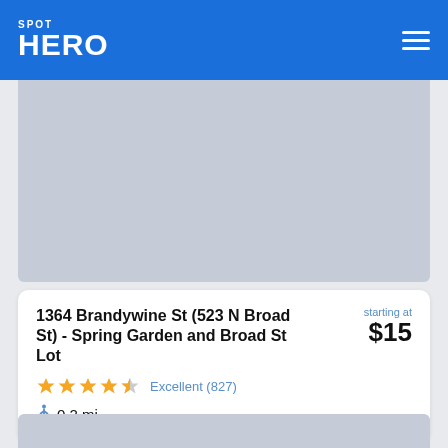SPOT HERO
[Figure (screenshot): Gray placeholder map image area at top of listing card]
1364 Brandywine St (523 N Broad St) - Spring Garden and Broad St Lot
starting at $15
★★★★½ Excellent (827)
🚶 0.2 mi
[Figure (screenshot): Gray placeholder image for second listing card partially visible at bottom]